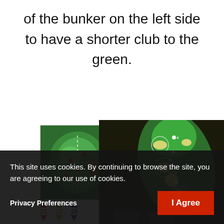of the bunker on the left side to have a shorter club to the green.
[Figure (photo): Two golf hole diagrams: a small thumbnail showing a green with yardage markers (21, 12, 18) and colored arrows, and a larger aerial photograph of a golf hole green shown from above, with bunkers, fairway, and distance markers visible.]
This site uses cookies. By continuing to browse the site, you are agreeing to our use of cookies.
Privacy Preferences
I Agree